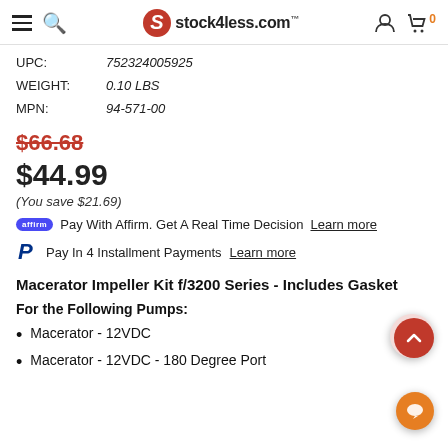stock4less.com
UPC: 752324005925
WEIGHT: 0.10 LBS
MPN: 94-571-00
$66.68 (strikethrough original price)
$44.99
(You save $21.69)
Pay With Affirm. Get A Real Time Decision Learn more
Pay In 4 Installment Payments Learn more
Macerator Impeller Kit f/3200 Series - Includes Gasket
For the Following Pumps:
Macerator - 12VDC
Macerator - 12VDC - 180 Degree Port